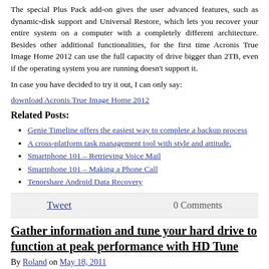The special Plus Pack add-on gives the user advanced features, such as dynamic-disk support and Universal Restore, which lets you recover your entire system on a computer with a completely different architecture. Besides other additional functionalities, for the first time Acronis True Image Home 2012 can use the full capacity of drive bigger than 2TB, even if the operating system you are running doesn't support it.
In case you have decided to try it out, I can only say:
download Acronis True Image Home 2012
Related Posts:
Genie Timeline offers the easiest way to complete a backup process
A cross-platform task management tool with style and attitude.
Smartphone 101 – Retrieving Voice Mail
Smartphone 101 – Making a Phone Call
Tenorshare Android Data Recovery
Tweet   0 Comments
Gather information and tune your hard drive to function at peak performance with HD Tune
By Roland on May 18, 2011
Your hard drive is the life blood of your computer. When it goes bad, the whole thing goes down. Keeping it healthy can be an involved and painful process without the right tools. HD Tune is the right tool for that job.